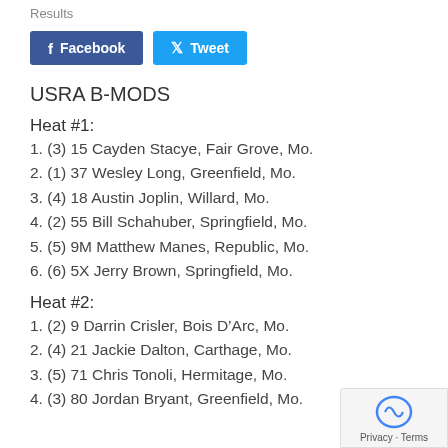Results
[Figure (other): Facebook and Tweet social sharing buttons]
USRA B-MODS
Heat #1:
1. (3) 15 Cayden Stacye, Fair Grove, Mo.
2. (1) 37 Wesley Long, Greenfield, Mo.
3. (4) 18 Austin Joplin, Willard, Mo.
4. (2) 55 Bill Schahuber, Springfield, Mo.
5. (5) 9M Matthew Manes, Republic, Mo.
6. (6) 5X Jerry Brown, Springfield, Mo.
Heat #2:
1. (2) 9 Darrin Crisler, Bois D'Arc, Mo.
2. (4) 21 Jackie Dalton, Carthage, Mo.
3. (5) 71 Chris Tonoli, Hermitage, Mo.
4. (3) 80 Jordan Bryant, Greenfield, Mo.